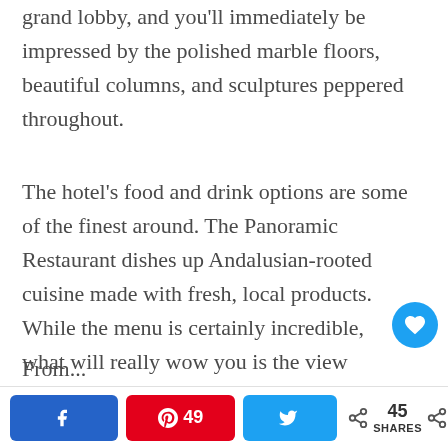grand lobby, and you'll immediately be impressed by the polished marble floors, beautiful columns, and sculptures peppered throughout.
The hotel's food and drink options are some of the finest around. The Panoramic Restaurant dishes up Andalusian-rooted cuisine made with fresh, local products. While the menu is certainly incredible, what will really wow you is the view
From...